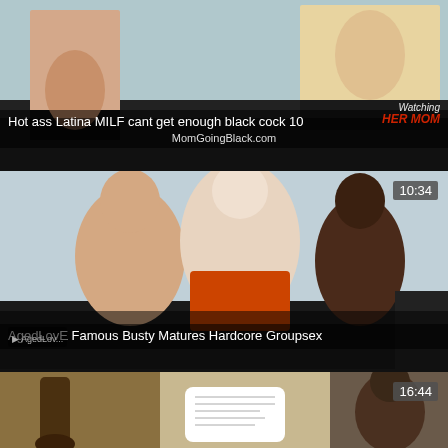[Figure (photo): Video thumbnail 1: adult content video thumbnail with title overlay and watermark]
Hot ass Latina MILF cant get enough black cock 10
MomGoingBlack.com
[Figure (photo): Video thumbnail 2: adult content video thumbnail with duration badge 10:34 and title overlay]
AgedLovE Famous Busty Matures Hardcore Groupsex
[Figure (photo): Video thumbnail 3: partial adult content video thumbnail with duration badge 16:44]